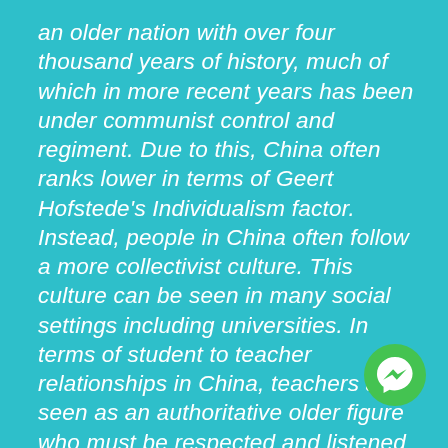an older nation with over four thousand years of history, much of which in more recent years has been under communist control and regiment. Due to this, China often ranks lower in terms of Geert Hofstede's Individualism factor. Instead, people in China often follow a more collectivist culture. This culture can be seen in many social settings including universities. In terms of student to teacher relationships in China, teachers are seen as an authoritative older figure who must be respected and listened to. Students are not encouraged to ask as many questions and since the collective is prized over
[Figure (logo): Facebook Messenger logo — green circle with white lightning bolt / chat icon]